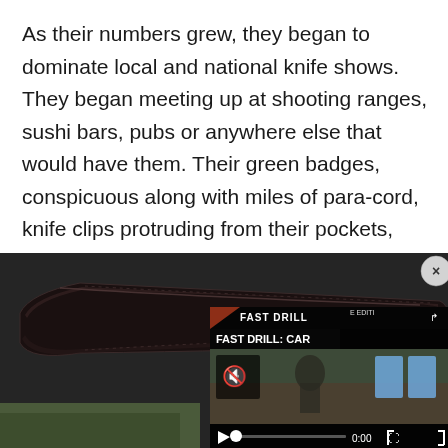As their numbers grew, they began to dominate local and national knife shows. They began meeting up at shooting ranges, sushi bars, pubs or anywhere else that would have them. Their green badges, conspicuous along with miles of para-cord, knife clips protruding from their pockets, high-end packs, titanium gadgets, and silver jewelry from Steel Flame or Starlingear made them stand out in the crowd.
[Figure (photo): Photo of a dark leather knife sheath against a dark fabric background, with an overlaid video player showing 'FAST DRILL: CAR' with playback controls at 0:00]